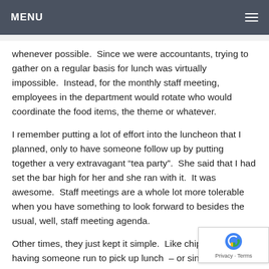MENU
whenever possible.  Since we were accountants, trying to gather on a regular basis for lunch was virtually impossible.  Instead, for the monthly staff meeting, employees in the department would rotate who would coordinate the food items, the theme or whatever.
I remember putting a lot of effort into the luncheon that I planned, only to have someone follow up by putting together a very extravagant “tea party”.  She said that I had set the bar high for her and she ran with it.  It was awesome.  Staff meetings are a whole lot more tolerable when you have something to look forward to besides the usual, well, staff meeting agenda.
Other times, they just kept it simple.  Like chipping in and having someone run to pick up lunch  – or since it was California, breakfast burritos were a big hit.  One very